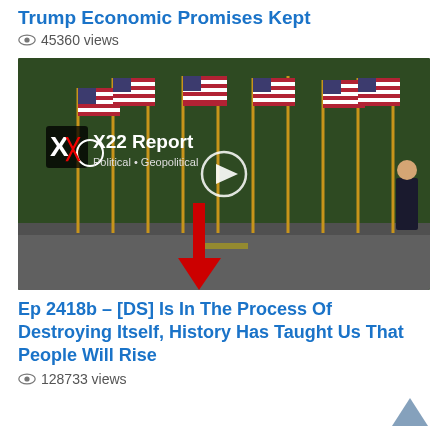Trump Economic Promises Kept
45360 views
[Figure (screenshot): X22 Report video thumbnail showing rows of American flags along a street with a figure standing to the right, overlaid with X22 Report logo text 'Political • Geopolitical' and a red downward arrow graphic, plus a play button circle in the center.]
Ep 2418b – [DS] Is In The Process Of Destroying Itself, History Has Taught Us That People Will Rise
128733 views